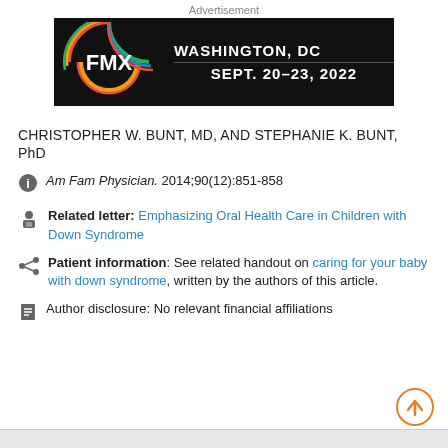Advertisement
[Figure (other): FMX advertisement banner: colorful circular logo on dark background with text WASHINGTON, DC SEPT. 20-23, 2022]
CHRISTOPHER W. BUNT, MD, AND STEPHANIE K. BUNT, PhD
Am Fam Physician. 2014;90(12):851-858
Related letter: Emphasizing Oral Health Care in Children with Down Syndrome
Patient information: See related handout on caring for your baby with down syndrome, written by the authors of this article.
Author disclosure: No relevant financial affiliations